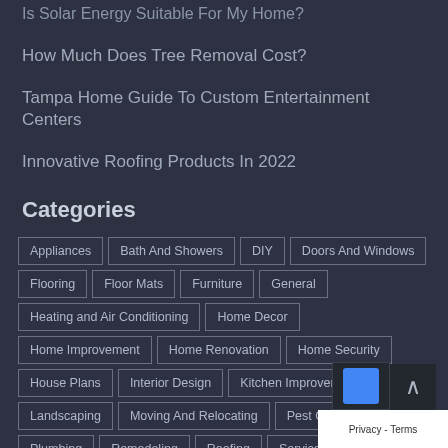Is Solar Energy Suitable For My Home?
How Much Does Tree Removal Cost?
Tampa Home Guide To Custom Entertainment Centers
Innovative Roofing Products In 2022
Categories
Appliances
Bath And Showers
DIY
Doors And Windows
Flooring
Floor Mats
Furniture
General
Heating and Air Conditioning
Home Decor
Home Improvement
Home Renovation
Home Security
House Plans
Interior Design
Kitchen Improvements
Landscaping
Moving And Relocating
Pest Control
Plumbing
Remodeling
Roofing
Services
Storage-Garage
Tools and Equipment